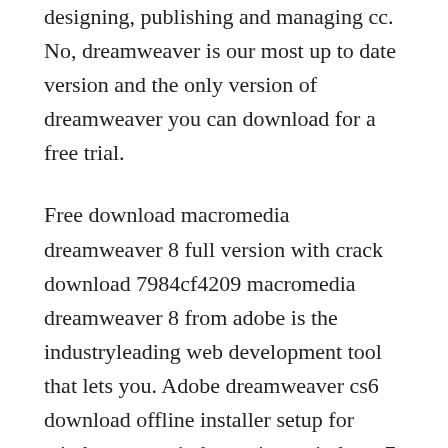designing, publishing and managing cc. No, dreamweaver is our most up to date version and the only version of dreamweaver you can download for a free trial.
Free download macromedia dreamweaver 8 full version with crack download 7984cf4209 macromedia dreamweaver 8 from adobe is the industryleading web development tool that lets you. Adobe dreamweaver cs6 download offline installer setup for windows xp, windows vista, windows 7, windows 8 and windows 10. Macromedia dreamweaver 8 full version free download free download